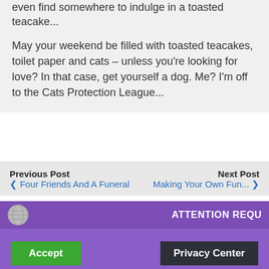even find somewhere to indulge in a toasted teacake...
May your weekend be filled with toasted teacakes, toilet paper and cats – unless you're looking for love? In that case, get yourself a dog. Me? I'm off to the Cats Protection League...
Previous Post ❮ Four Friends And A Funeral
Next Post Making Your Own Fun... ❯
ATTENTION REQU
This website uses Cookies. By continuing to use our site, you consent to the use of cookies.
Accept
Privacy Center